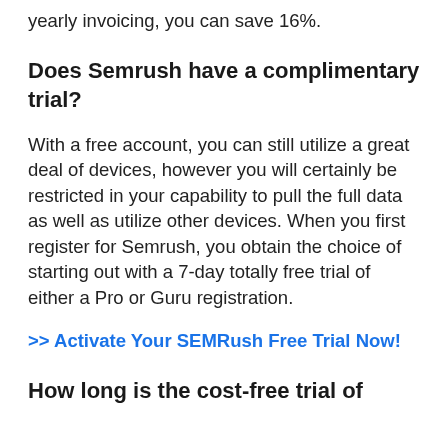yearly invoicing, you can save 16%.
Does Semrush have a complimentary trial?
With a free account, you can still utilize a great deal of devices, however you will certainly be restricted in your capability to pull the full data as well as utilize other devices. When you first register for Semrush, you obtain the choice of starting out with a 7-day totally free trial of either a Pro or Guru registration.
>> Activate Your SEMRush Free Trial Now!
How long is the cost-free trial of